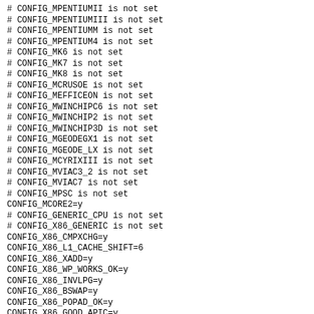# CONFIG_MPENTIUMII is not set
# CONFIG_MPENTIUMIII is not set
# CONFIG_MPENTIUMM is not set
# CONFIG_MPENTIUM4 is not set
# CONFIG_MK6 is not set
# CONFIG_MK7 is not set
# CONFIG_MK8 is not set
# CONFIG_MCRUSOE is not set
# CONFIG_MEFFICEON is not set
# CONFIG_MWINCHIPC6 is not set
# CONFIG_MWINCHIP2 is not set
# CONFIG_MWINCHIP3D is not set
# CONFIG_MGEODEGX1 is not set
# CONFIG_MGEODE_LX is not set
# CONFIG_MCYRIXIII is not set
# CONFIG_MVIAC3_2 is not set
# CONFIG_MVIAC7 is not set
# CONFIG_MPSC is not set
CONFIG_MCORE2=y
# CONFIG_GENERIC_CPU is not set
# CONFIG_X86_GENERIC is not set
CONFIG_X86_CMPXCHG=y
CONFIG_X86_L1_CACHE_SHIFT=6
CONFIG_X86_XADD=y
CONFIG_X86_WP_WORKS_OK=y
CONFIG_X86_INVLPG=y
CONFIG_X86_BSWAP=y
CONFIG_X86_POPAD_OK=y
CONFIG_X86_GOOD_APIC=y
CONFIG_X86_INTEL_USERCOPY=y